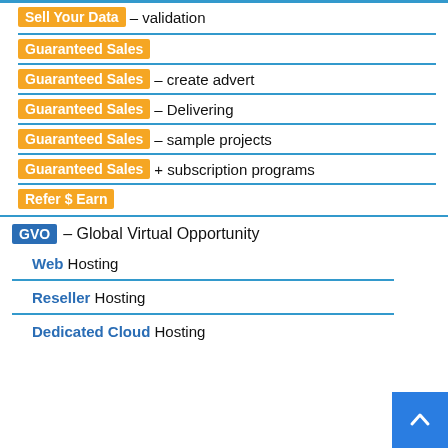Sell Your Data – validation
Guaranteed Sales
Guaranteed Sales – create advert
Guaranteed Sales – Delivering
Guaranteed Sales – sample projects
Guaranteed Sales + subscription programs
Refer $ Earn
GVO – Global Virtual Opportunity
Web Hosting
Reseller Hosting
Dedicated Cloud Hosting